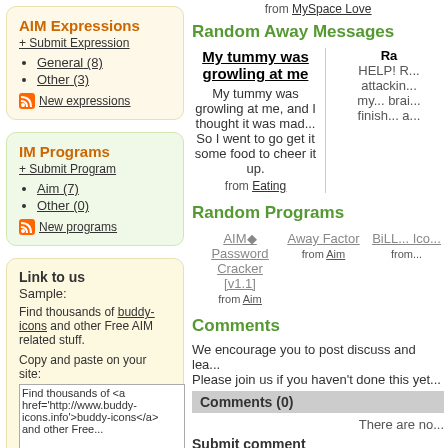from MySpace Love
Random Away Messages
My tummy was growling at me
My tummy was growling at me, and I thought it was mad... So I went to go get it some food to cheer it up.
from Eating
Ra... HELP! R... attackin... my... brain... finish... a...
AIM Expressions
+ Submit Expression
General (8)
Other (3)
New expressions
IM Programs
+ Submit Program
Aim (7)
Other (0)
New programs
Link to us
Sample:
Find thousands of buddy-icons and other Free AIM related stuff.
Copy and paste on your site:
Find thousands of <a href='http://www.buddy-icons.info'>buddy-icons</a>  and other Free...
Random Programs
AIM◆ Password Cracker [v1.1] from Aim
Away Factor from Aim
BiLL... Ico... from...
Comments
We encourage you to post discuss and lea... Please join us if you haven't done this yet...
Comments (0)
There are no...
Submit comment